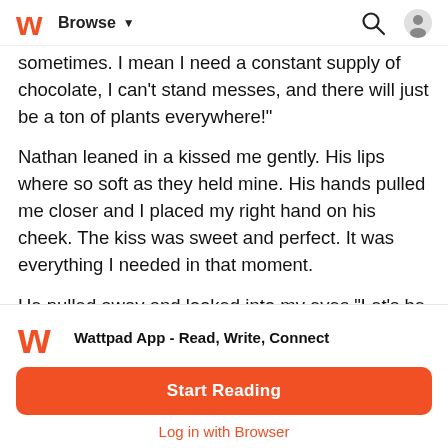Browse
sometimes. I mean I need a constant supply of chocolate, I can't stand messes, and there will just be a ton of plants everywhere!"
Nathan leaned in a kissed me gently. His lips where so soft as they held mine. His hands pulled me closer and I placed my right hand on his cheek. The kiss was sweet and perfect. It was everything I needed in that moment.
He pulled away and looked into my eyes,"Let's be a couple."
I nodded and tried to hold back my excitement,"Yeah... Let's."
With that he smiled and I leaned my head on his shoulder. This
Wattpad App - Read, Write, Connect
Start Reading
Log in with Browser